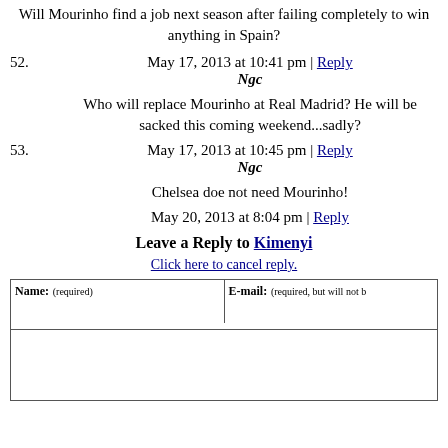Will Mourinho find a job next season after failing completely to win anything in Spain?
52. May 17, 2013 at 10:41 pm | Reply
Ngc
Who will replace Mourinho at Real Madrid? He will be sacked this coming weekend...sadly?
53. May 17, 2013 at 10:45 pm | Reply
Ngc
Chelsea doe not need Mourinho!
May 20, 2013 at 8:04 pm | Reply
Leave a Reply to Kimenyi
Click here to cancel reply.
| Name: (required) | E-mail: (required, but will not be published) |
| --- | --- |
|  |  |